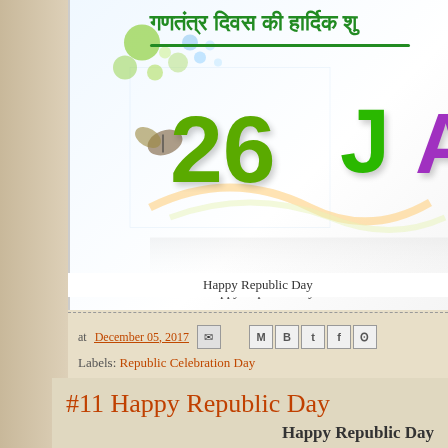[Figure (illustration): Republic Day celebration image showing '26 J A' colorful letters with Hindi text 'गणतंत्र दिवस की हार्दिक शु...' at top, decorative circles, and a butterfly. Caption: Happy Republic Day]
Happy Republic Day
at December 05, 2017
Labels: Republic Celebration Day
#11 Happy Republic Day
Happy Republic Day